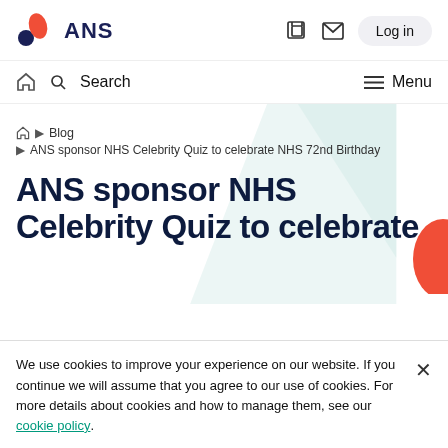ANS
Search
Menu
Blog > ANS sponsor NHS Celebrity Quiz to celebrate NHS 72nd Birthday
ANS sponsor NHS Celebrity Quiz to celebrate
We use cookies to improve your experience on our website. If you continue we will assume that you agree to our use of cookies. For more details about cookies and how to manage them, see our cookie policy.